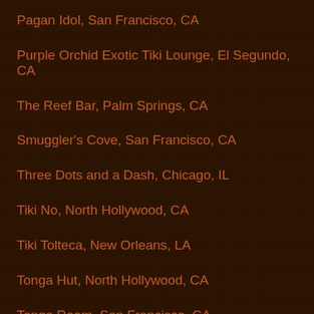Pagan Idol, San Francisco, CA
Purple Orchid Exotic Tiki Lounge, El Segundo, CA
The Reef Bar, Palm Springs, CA
Smuggler's Cove, San Francisco, CA
Three Dots and a Dash, Chicago, IL
Tiki No, North Hollywood, CA
Tiki Tolteca, New Orleans, LA
Tonga Hut, North Hollywood, CA
Tonga Room, San Francisco, CA
Trader Mort's Liquor & Deli, San Diego, CA